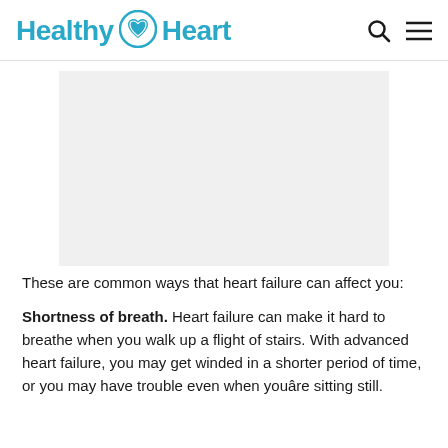Healthy Heart
[Figure (photo): Gray placeholder image box representing a medical illustration related to heart failure]
These are common ways that heart failure can affect you:
Shortness of breath. Heart failure can make it hard to breathe when you walk up a flight of stairs. With advanced heart failure, you may get winded in a shorter period of time, or you may have trouble even when youâre sitting still.